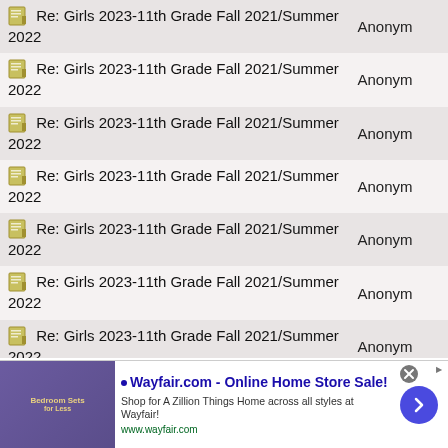| Thread | Author |
| --- | --- |
| Re: Girls 2023-11th Grade Fall 2021/Summer 2022 | Anonym |
| Re: Girls 2023-11th Grade Fall 2021/Summer 2022 | Anonym |
| Re: Girls 2023-11th Grade Fall 2021/Summer 2022 | Anonym |
| Re: Girls 2023-11th Grade Fall 2021/Summer 2022 | Anonym |
| Re: Girls 2023-11th Grade Fall 2021/Summer 2022 | Anonym |
| Re: Girls 2023-11th Grade Fall 2021/Summer 2022 | Anonym |
| Re: Girls 2023-11th Grade Fall 2021/Summer 2022 | Anonym |
| Re: Girls 2023-11th Grade Fall 2021/Summer 2022 | Anonym |
[Figure (screenshot): Wayfair.com advertisement banner: 'Wayfair.com - Online Home Store Sale! Shop for A Zillion Things Home across all styles at Wayfair! www.wayfair.com']